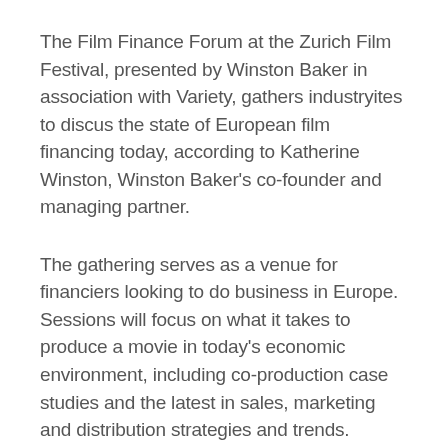The Film Finance Forum at the Zurich Film Festival, presented by Winston Baker in association with Variety, gathers industryites to discus the state of European film financing today, according to Katherine Winston, Winston Baker's co-founder and managing partner.
The gathering serves as a venue for financiers looking to do business in Europe. Sessions will focus on what it takes to produce a movie in today's economic environment, including co-production case studies and the latest in sales, marketing and distribution strategies and trends.
For Constantin's Martin Moszkowicz, the forum is an opportunity to speak about the challenges